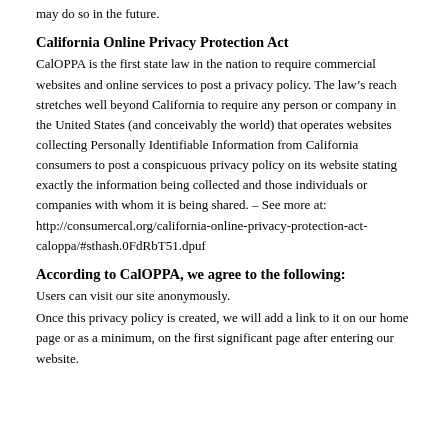may do so in the future.
California Online Privacy Protection Act
CalOPPA is the first state law in the nation to require commercial websites and online services to post a privacy policy. The law’s reach stretches well beyond California to require any person or company in the United States (and conceivably the world) that operates websites collecting Personally Identifiable Information from California consumers to post a conspicuous privacy policy on its website stating exactly the information being collected and those individuals or companies with whom it is being shared. – See more at: http://consumercal.org/california-online-privacy-protection-act-caloppa/#sthash.0FdRbT51.dpuf
According to CalOPPA, we agree to the following:
Users can visit our site anonymously.
Once this privacy policy is created, we will add a link to it on our home page or as a minimum, on the first significant page after entering our website.